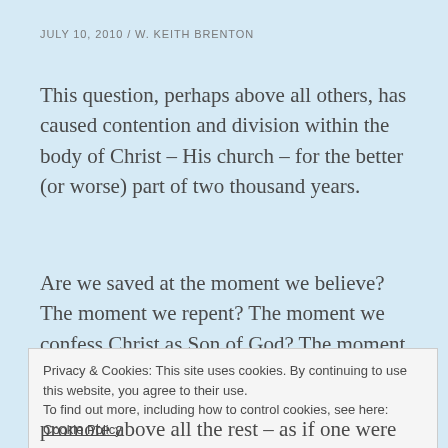JULY 10, 2010  /  W. KEITH BRENTON
This question, perhaps above all others, has caused contention and division within the body of Christ – His church – for the better (or worse) part of two thousand years.
Are we saved at the moment we believe? The moment we repent? The moment we confess Christ as Son of God? The moment we are baptized? The moment we receive the Holy Spirit?
Privacy & Cookies: This site uses cookies. By continuing to use this website, you agree to their use.
To find out more, including how to control cookies, see here: Cookie Policy
promote above all the rest – as if one were more